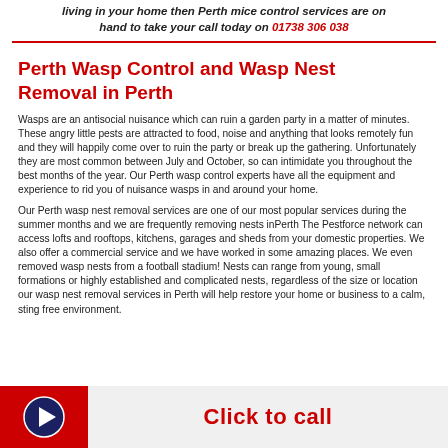living in your home then Perth mice control services are on hand to take your call today on 01738 306 038
Perth Wasp Control and Wasp Nest Removal in Perth
Wasps are an antisocial nuisance which can ruin a garden party in a matter of minutes. These angry little pests are attracted to food, noise and anything that looks remotely fun and they will happily come over to ruin the party or break up the gathering. Unfortunately they are most common between July and October, so can intimidate you throughout the best months of the year. Our Perth wasp control experts have all the equipment and experience to rid you of nuisance wasps in and around your home.
Our Perth wasp nest removal services are one of our most popular services during the summer months and we are frequently removing nests inPerth The Pestforce network can access lofts and rooftops, kitchens, garages and sheds from your domestic properties. We also offer a commercial service and we have worked in some amazing places. We even removed wasp nests from a football stadium! Nests can range from young, small formations or highly established and complicated nests, regardless of the size or location our wasp nest removal services in Perth will help restore your home or business to a calm, sting free environment.
Click to call